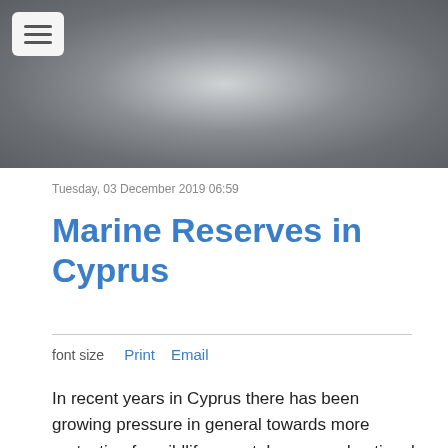[Figure (photo): Dark grey gradient header image with lighter center glow and a menu/hamburger button in the top left corner]
Tuesday, 03 December 2019 06:59
Marine Reserves in Cyprus
font size   Print   Email
In recent years in Cyprus there has been growing pressure in general towards more protection for wildlife, coastal areas and national parks. Wether it be the quiet sandy beach areas that need to be left